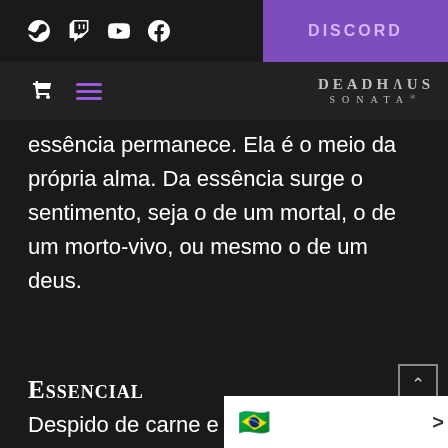[Figure (screenshot): Website navigation bar with social media icons (Steam, Twitch, YouTube, Facebook) on the left and a purple DISCORD button on the right]
[Figure (screenshot): Secondary navigation bar with cart and menu icons on left, and DEADHAUS SONATA brand name on right]
essência permanece. Ela é o meio da própria alma. Da essência surge o sentimento, seja o de um mortal, o de um morto-vivo, ou mesmo o de um deus.
Essencial
Despido de carne e magia, tudo o que resta é a alma. Esta ess
[Figure (other): Brazilian flag emoji in a white language selection bar at the bottom with a right arrow]